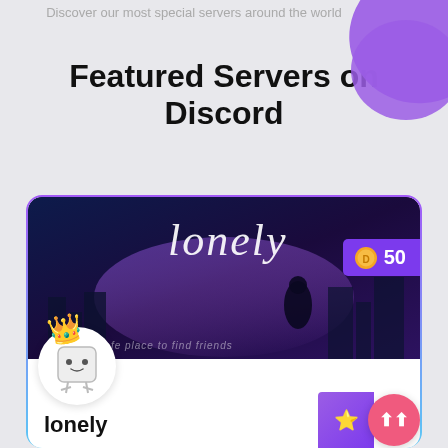Discover our most special servers around the world
Featured Servers on Discord
[Figure (screenshot): Discord server card for 'lonely' server showing a dark anime-style banner image with the word 'Lonely' displayed, a robot avatar with a crown emoji, a purple badge showing 50 coins, and a star/boost button. Below the banner is the server name 'lonely' and a description.]
lonely
If you're lonely, join our fast-growing discord server to meet new people. Hang out and talk about random stuff in